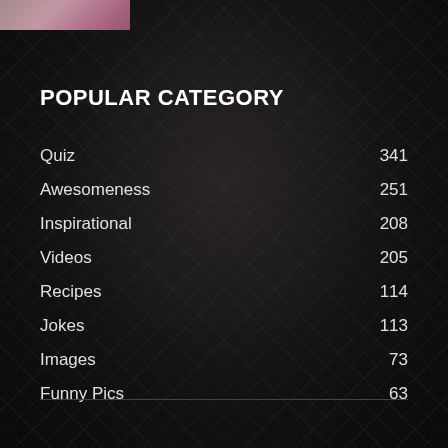[Figure (photo): Partial image of a person visible at top left corner, cropped]
POPULAR CATEGORY
Quiz  341
Awesomeness  251
Inspirational  208
Videos  205
Recipes  114
Jokes  113
Images  73
Funny Pics  63